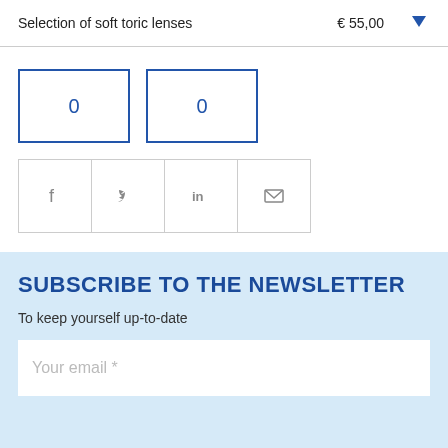Selection of soft toric lenses   €55,00
[Figure (other): Two quantity input boxes showing 0]
[Figure (other): Social share icons: Facebook, Twitter, LinkedIn, Email]
SUBSCRIBE TO THE NEWSLETTER
To keep yourself up-to-date
Your email *